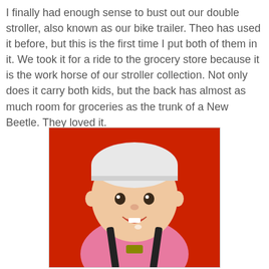I finally had enough sense to bust out our double stroller, also known as our bike trailer. Theo has used it before, but this is the first time I put both of them in it. We took it for a ride to the grocery store because it is the work horse of our stroller collection. Not only does it carry both kids, but the back has almost as much room for groceries as the trunk of a New Beetle. They loved it.
[Figure (photo): A smiling baby wearing a white hat and pink jacket, sitting in a red stroller with black harness straps visible.]